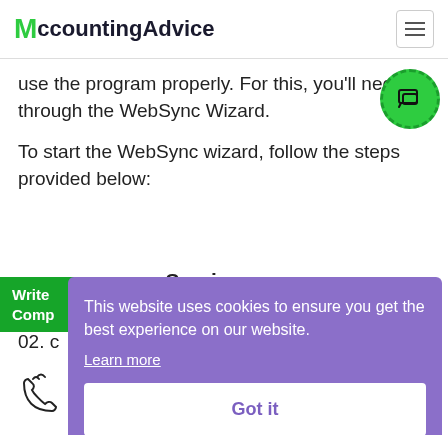AccountingAdvice
use the program properly. For this, you'll need through the WebSync Wizard.
To start the WebSync wizard, follow the steps provided below:
…e Services menu
Write
Comp
02. c
This website uses cookies to ensure you get the best experience on our website.
Learn more
Got it